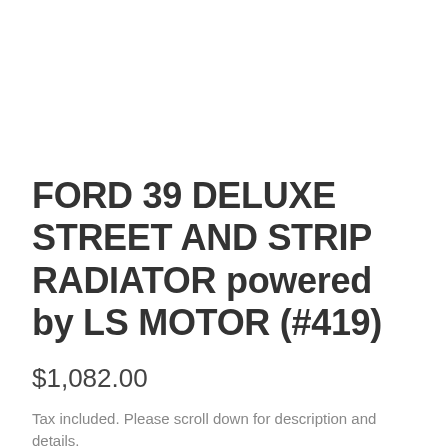FORD 39 DELUXE STREET AND STRIP RADIATOR powered by LS MOTOR (#419)
$1,082.00
Tax included. Please scroll down for description and details.